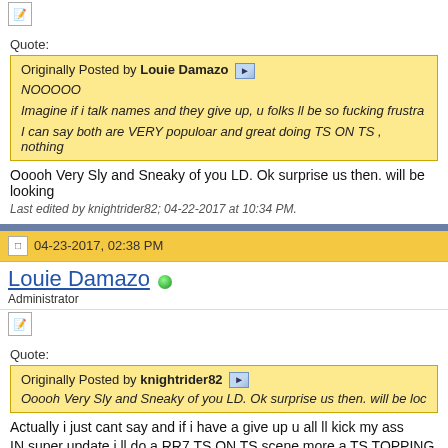[Figure (screenshot): Forum post icon (edit/pen icon)]
Quote:
Originally Posted by Louie Damazo
NOOOOO
Imagine if i talk names and they give up, u folks ll be so fucking frustra
I can say both are VERY populoar and great doing TS ON TS , nothing
Ooooh Very Sly and Sneaky of you LD. Ok surprise us then. will be looking
Last edited by knightrider82; 04-22-2017 at 10:34 PM.
04-23-2017, 02:38 PM
Louie Damazo
Administrator
[Figure (screenshot): Forum post icon (edit/pen icon)]
Quote:
Originally Posted by knightrider82
Ooooh Very Sly and Sneaky of you LD. Ok surprise us then. will be loc
Actually i just cant say and if i have a give up u all ll kick my ass
IN super update i ll do a RR7 TS ON TS scene more a TS TOPPING C...